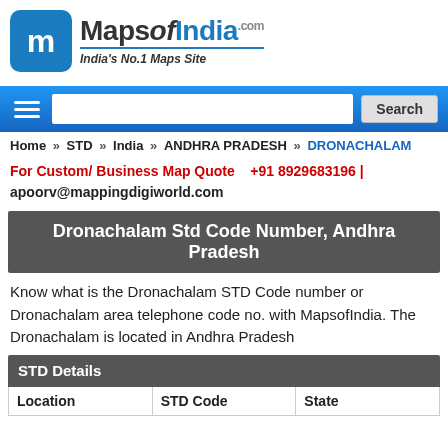[Figure (logo): MapsofIndia.com logo with blue 'm' icon and tagline India's No.1 Maps Site]
Search navigation bar with hamburger menu and search button
Home » STD » India » ANDHRA PRADESH » DRONACHALAM
For Custom/ Business Map Quote   +91 8929683196 |
apoorv@mappingdigiworld.com
Dronachalam Std Code Number, Andhra Pradesh
Know what is the Dronachalam STD Code number or Dronachalam area telephone code no. with MapsofIndia. The Dronachalam is located in Andhra Pradesh
| Location | STD Code | State |
| --- | --- | --- |